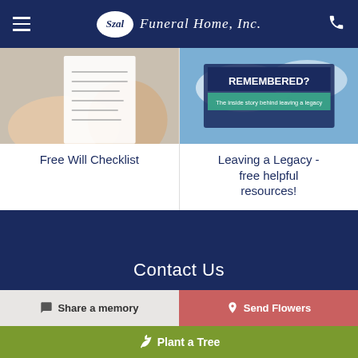Szal Funeral Home, Inc.
[Figure (photo): Person holding and reading a document/form]
[Figure (photo): Book or sign reading 'REMEMBERED? The inside story behind leaving a legacy']
Free Will Checklist
Leaving a Legacy - free helpful resources!
Contact Us
Share a memory
Send Flowers
Plant a Tree